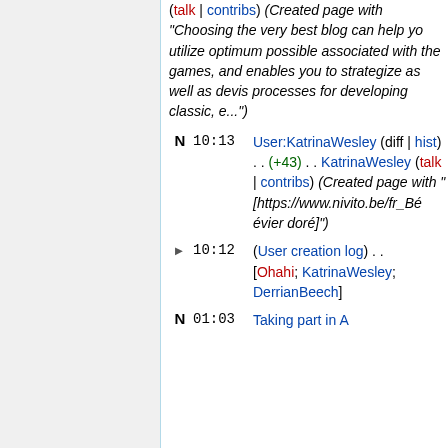(talk | contribs) (Created page with "Choosing the very best blog can help you utilize optimum possible associated with the games, and enables you to strategize as well as devise processes for developing classic, e...")
N 10:13 User:KatrinaWesley (diff | hist) . . (+43) . . KatrinaWesley (talk | contribs) (Created page with " [https://www.nivito.be/fr_BE évier doré]")
► 10:12 (User creation log) . . [Ohahi; KatrinaWesley; DerrianBeech]
N 01:03 Taking part in A